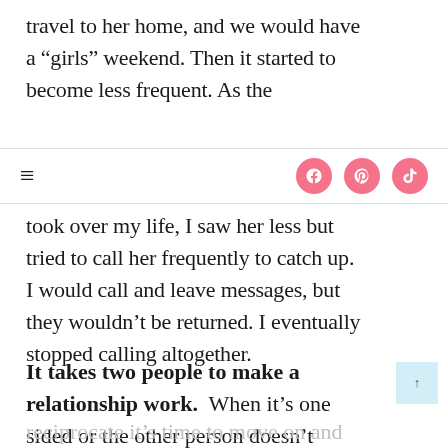travel to her home, and we would have a “girls” weekend. Then it started to become less frequent. As the
≡  [Facebook] [Pinterest] [TikTok]
took over my life, I saw her less but tried to call her frequently to catch up. I would call and leave messages, but they wouldn’t be returned. I eventually stopped calling altogether.
It takes two people to make a relationship work.  When it’s one sided or the other person doesn’t
reciprocate it’s time to move on and